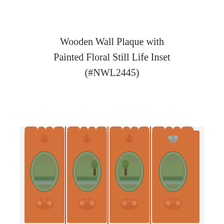Wooden Wall Plaque with Painted Floral Still Life Inset (#NWL2445)
[Figure (photo): Four connected wooden wall plaques side by side, each with an orange/terracotta painted wood frame with notched decorative top edges, containing an oval inset painting of a scenic landscape or pastoral scene in muted green and brown tones, with floral decorative elements at the bottom.]